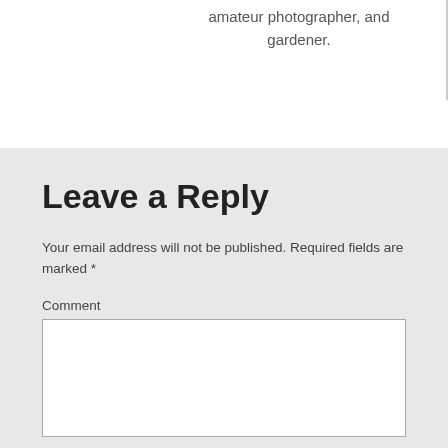amateur photographer, and gardener.
Leave a Reply
Your email address will not be published. Required fields are marked *
Comment